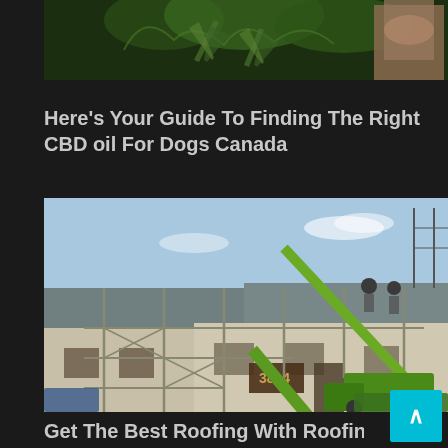[Figure (photo): Close-up photo of cannabis/hemp plant leaves being held, with green leaves visible against a dark background]
Here's Your Guide To Finding The Right CBD oil For Dogs Canada
[Figure (photo): Photo of a roofing construction site with scaffolding, workers on the roof, and a green crane/lift machine near a row of terraced houses]
Get The Best Roofing With Roofing Wilmington NC